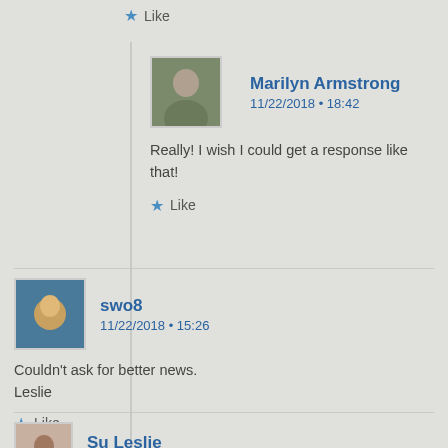Like
Marilyn Armstrong
11/22/2018 • 18:42
Really! I wish I could get a response like that!
Like
swo8
11/22/2018 • 15:26
Couldn't ask for better news.
Leslie
Like
Su Leslie
11/22/2018 • 15:02